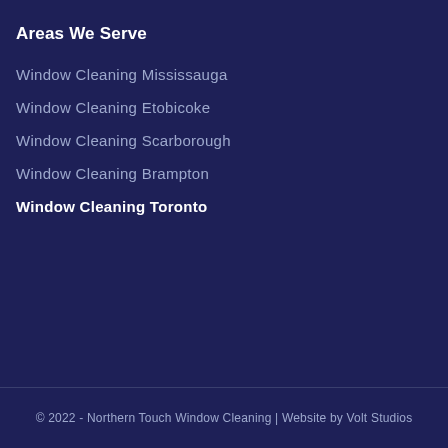Areas We Serve
Window Cleaning Mississauga
Window Cleaning Etobicoke
Window Cleaning Scarborough
Window Cleaning Brampton
Window Cleaning Toronto
© 2022 - Northern Touch Window Cleaning | Website by Volt Studios